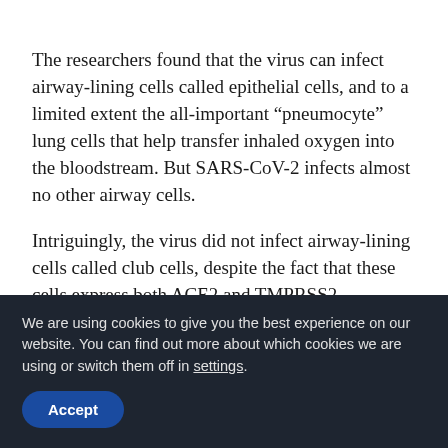The researchers found that the virus can infect airway-lining cells called epithelial cells, and to a limited extent the all-important “pneumocyte” lung cells that help transfer inhaled oxygen into the bloodstream. But SARS-CoV-2 infects almost no other airway cells.
Intriguingly, the virus did not infect airway-lining cells called club cells, despite the fact that these cells express both ACE2 and TMPRSS2. Moreover, the same types of airway epithelial cells from different human
We are using cookies to give you the best experience on our website. You can find out more about which cookies we are using or switch them off in settings.